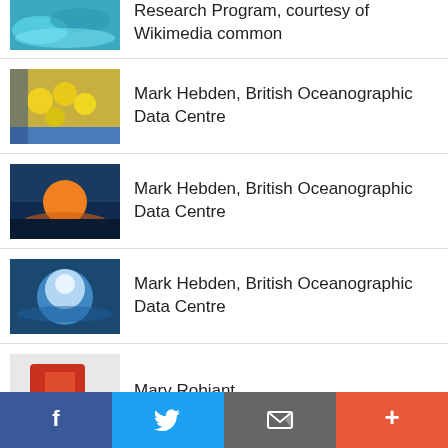Research Program, courtesy of Wikimedia common
[Figure (photo): Thumbnail photo - ocean/satellite imagery]
Mark Hebden, British Oceanographic Data Centre
[Figure (photo): Thumbnail photo - yellow buoys on ship deck]
Mark Hebden, British Oceanographic Data Centre
[Figure (photo): Thumbnail photo - ocean sunset]
Mark Hebden, British Oceanographic Data Centre
[Figure (photo): Thumbnail photo - ocean splash/wave]
Mary Robjant
[Figure (photo): Thumbnail photo - red ship in snow]
Mary Robjant
[Figure (photo): Thumbnail photo - people on snow/ice]